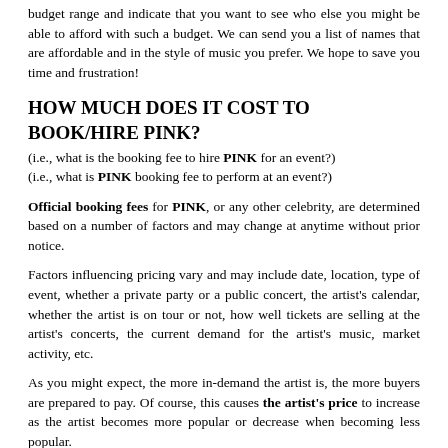budget range and indicate that you want to see who else you might be able to afford with such a budget. We can send you a list of names that are affordable and in the style of music you prefer. We hope to save you time and frustration!
HOW MUCH DOES IT COST TO BOOK/HIRE PINK?
(i.e., what is the booking fee to hire PINK for an event?)
(i.e., what is PINK booking fee to perform at an event?)
Official booking fees for PINK, or any other celebrity, are determined based on a number of factors and may change at anytime without prior notice.
Factors influencing pricing vary and may include date, location, type of event, whether a private party or a public concert, the artist's calendar, whether the artist is on tour or not, how well tickets are selling at the artist's concerts, the current demand for the artist's music, market activity, etc.
As you might expect, the more in-demand the artist is, the more buyers are prepared to pay. Of course, this causes the artist's price to increase as the artist becomes more popular or decrease when becoming less popular.
Exclusive agents with exclusive representation frequently quote a range instead of a specific price, since changes can occur at anytime. Generally, the artist's manager has a role in the decision to accept any particular offer from a talent buyer.
To learn the most current artist's pricing, or the estimated artist's fee for your particular event, simply click on the "Let's Get Started!" link found on this page. Then, send us your request for booking information.